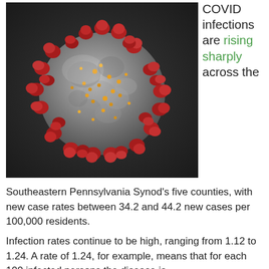[Figure (photo): Close-up 3D rendering of a coronavirus particle (SARS-CoV-2) showing grey spherical body with red spike proteins and small orange/yellow dots, on dark background.]
COVID infections are rising sharply across the
Southeastern Pennsylvania Synod's five counties, with new case rates between 34.2 and 44.2 new cases per 100,000 residents.
Infection rates continue to be high, ranging from 1.12 to 1.24. A rate of 1.24, for example, means that for each 100 infected persons the disease is